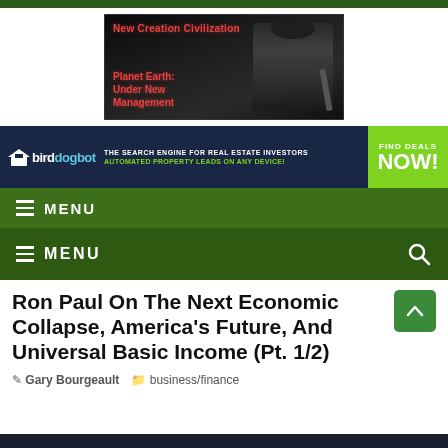[Figure (illustration): New Creation Civilization advertisement image with dark warrior/knight figure, red text reading 'New Creation Civilization' and 'Planet Earth: Under New Management']
[Figure (illustration): Birddogbot banner ad: 'The search engine for real estate investors. Automated property leads on any device! Find deals now!']
MENU
MENU
Ron Paul On The Next Economic Collapse, America's Future, And Universal Basic Income (Pt. 1/2)
Gary Bourgeault   business/finance